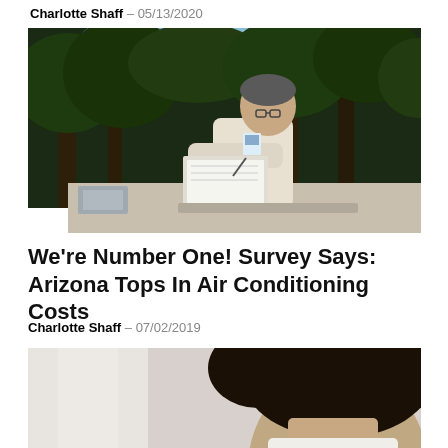Charlotte Shaff – 05/13/2020
[Figure (photo): An older Asian man in a white shirt with a badge, writing on a clipboard or notebook outdoors among trees]
We're Number One! Survey Says: Arizona Tops In Air Conditioning Costs
Charlotte Shaff – 07/02/2019
[Figure (photo): Partial view of a person with dark hair, cropped at bottom of page]